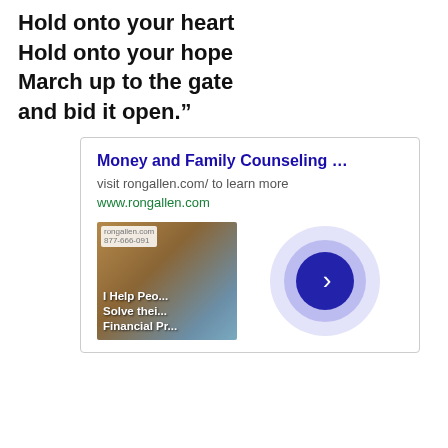Hold onto your heart
Hold onto your hope
March up to the gate
and bid it open.”
[Figure (infographic): Advertisement box for Money and Family Counseling at rongallen.com, showing a title link, description text, URL, a thumbnail image with text 'I Help People Solve their Financial Prob...' overlaid on a photo of an elderly man, and a circular play button graphic.]